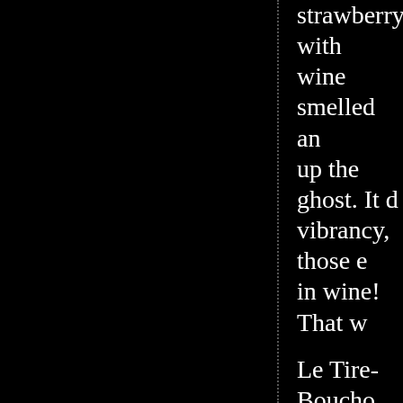strawberry with... wine smelled an... up the ghost. It d... vibrancy, those e... in wine! That w...
Le Tire-Boucho... means a lot of c... steady schedule... select wines and... within their allo...
And I paired wi... French cuisine w... Jurançon; oyste...